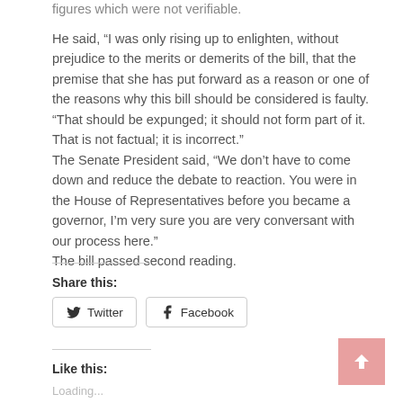figures which were not verifiable.
He said, “I was only rising up to enlighten, without prejudice to the merits or demerits of the bill, that the premise that she has put forward as a reason or one of the reasons why this bill should be considered is faulty. “That should be expunged; it should not form part of it. That is not factual; it is incorrect.”
The Senate President said, “We don’t have to come down and reduce the debate to reaction. You were in the House of Representatives before you became a governor, I’m very sure you are very conversant with our process here.”
The bill passed second reading.
Share this:
Twitter
Facebook
Like this:
Loading...